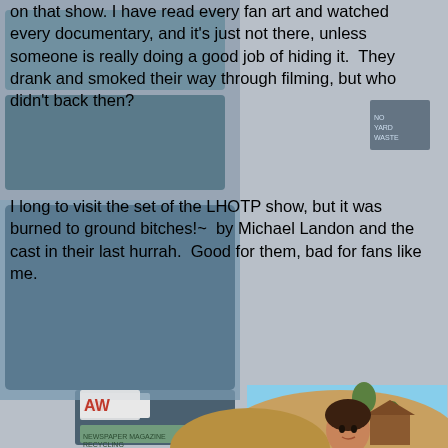[Figure (photo): Background image showing a collage of dumpsters/recycling bins in muted tones, with a centered foreground photo of a man (Michael Landon) sitting outdoors in a striped shirt, looking upward, with arms crossed over his knees, against a sunny hilly landscape background.]
on that show. I have read every fan art and watched every documentary, and it's just not there, unless someone is really doing a good job of hiding it. They drank and smoked their way through filming, but who didn't back then?
I long to visit the set of the LHOTP show, but it was burned to ground bitches!~ by Michael Landon and the cast in their last hurrah. Good for them, bad for fans like me.